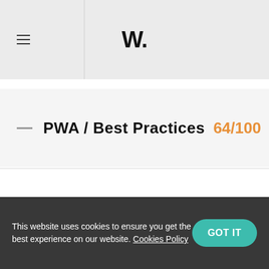W.
PWA / Best Practices 64/100
This report was built manually by Awwwards experts taking care personally of every detail using several Google and 3rd-party audit tools and services for metrics, web performance optimization and best practices for mobile design and development.
Loading time vary depending on network server, site design and optimization.
This website uses cookies to ensure you get the best experience on our website. Cookies Policy